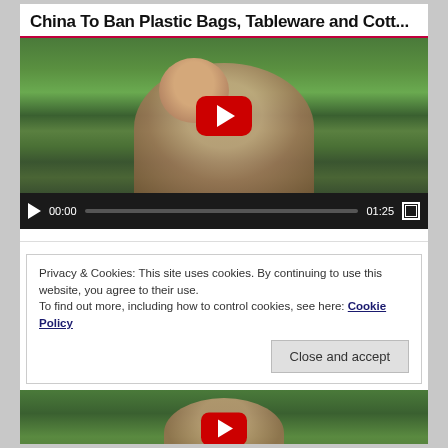China To Ban Plastic Bags, Tableware and Cott...
[Figure (screenshot): YouTube video player showing a man with sunglasses outdoors on grass, with a red YouTube play button overlay. Controls show 00:00 / 01:25.]
Privacy & Cookies: This site uses cookies. By continuing to use this website, you agree to their use.
To find out more, including how to control cookies, see here: Cookie Policy
[Figure (screenshot): YouTube video thumbnail showing a person outdoors with a red YouTube play button overlay, partially visible at bottom of page.]